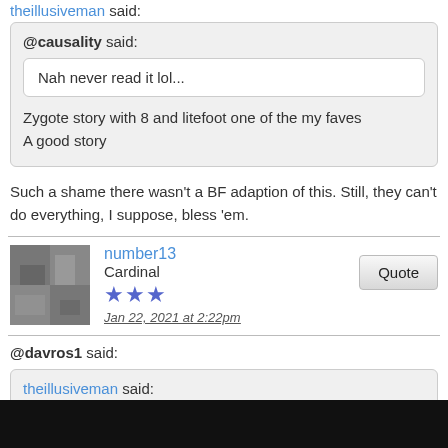theillusiveman said:
@causality said:
Nah never read it lol...
Zygote story with 8 and litefoot one of the my faves
A good story
Such a shame there wasn't a BF adaption of this. Still, they can't do everything, I suppose, bless 'em.
number13
Cardinal
Jan 22, 2021 at 2:22pm
@davros1 said:
theillusiveman said:
Zygote story with 8 and litefoot one of the my faves
A good story